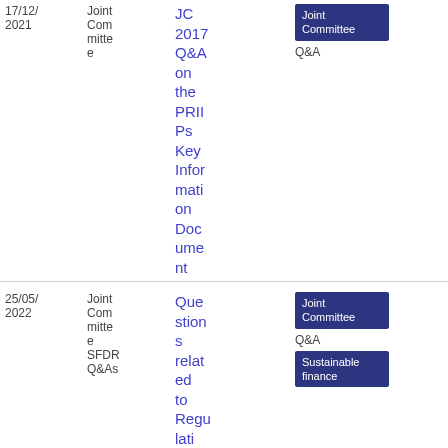| Date | Organisation | Title | Tags | Type | File |
| --- | --- | --- | --- | --- | --- |
| 17/12/2021 | Joint Committee | JC 2017 Q&A on the PRIIPs Key Information Document | Joint Committee | Q&A |  | 75
5.23 KB |
| 25/05/2022 | Joint Committee SFDR Q&As | Questions related to Regu... | Joint Committee | Q&A
Sustainable finance | PDF | 79
4.9 KB |